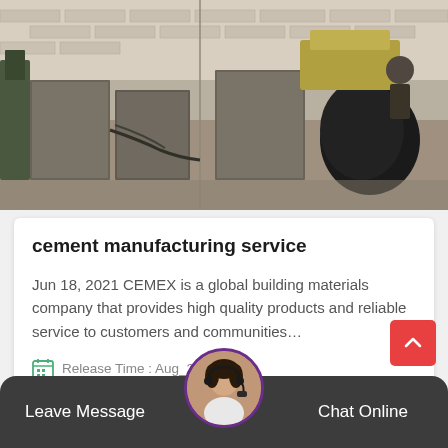[Figure (photo): Construction site photo showing concrete blocks/molds and workers or equipment in an outdoor industrial setting]
cement manufacturing service
Jun 18, 2021 CEMEX is a global building materials company that provides high quality products and reliable service to customers and communities…
Release Time : Aug_24
Leave Message  Chat Online